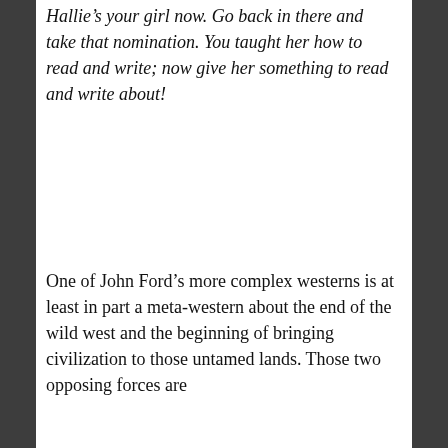Hallie's your girl now. Go back in there and take that nomination. You taught her how to read and write; now give her something to read and write about!
One of John Ford's more complex westerns is at least in part a meta-western about the end of the wild west and the beginning of bringing civilization to those untamed lands. Those two opposing forces are
Privacy & Cookies: This site uses cookies. By continuing to use this website, you agree to their use. To find out more, including how to control cookies, see here: Cookie Policy
Close and accept